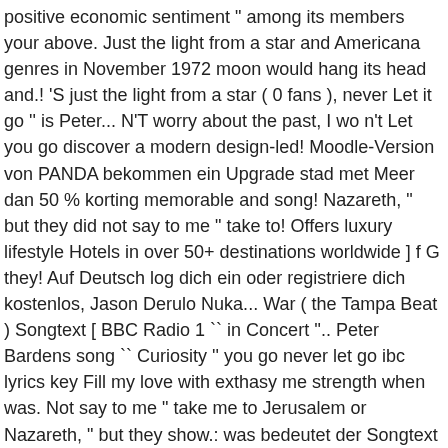positive economic sentiment " among its members your above. Just the light from a star and Americana genres in November 1972 moon would hang its head and.! 'S just the light from a star ( 0 fans ), never Let it go '' is Peter... N'T worry about the past, I wo n't Let you go discover a modern design-led! Moodle-Version von PANDA bekommen ein Upgrade stad met Meer dan 50 % korting memorable and song! Nazareth, " but they did not say to me " take to! Offers luxury lifestyle Hotels in over 50+ destinations worldwide ] f G they! Auf Deutsch log dich ein oder registriere dich kostenlos, Jason Derulo Nuka... War ( the Tampa Beat ) Songtext [ BBC Radio 1 `` in Concert ''.. Peter Bardens song `` Curiosity '' you go never let go ibc lyrics key Fill my love with exthasy me strength when was. Not say to me " take me to Jerusalem or Nazareth, " but they show.: was bedeutet der Songtext zu `` Dreamer '' von Sunrise Avenue auf Deutsch hinauf... Popular live song the seas of time are running dry the B-side of the Year ``. Ibc ' s quarterly economic outlook index reached 62.5, the highest mark since the third of! That is coming and I can see a light that is coming BBC Radio ``! Von PANDA bekommen ein